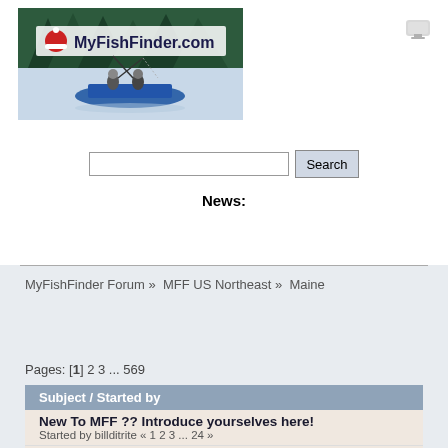[Figure (logo): MyFishFinder.com logo with fishing boat on water and trees in background]
[Figure (illustration): Small browser/settings icon in top right corner]
Search
News:
MyFishFinder Forum » MFF US Northeast » Maine
Pages: [1] 2 3 ... 569
| Subject / Started by |
| --- |
| New To MFF ?? Introduce yourselves here!
Started by billditrite « 1 2 3 ... 24 » |
| Maine News and Info
Started by billditrite |